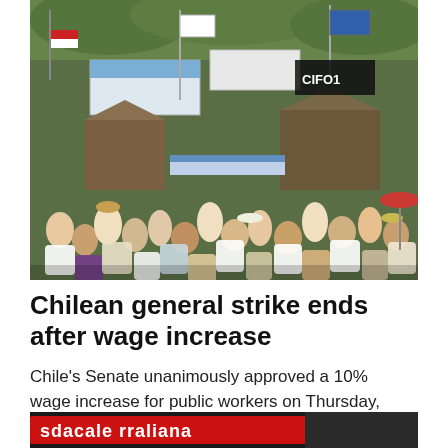[Figure (photo): Aerial/overhead view of a large protest crowd with flags, banners, tents and people gathered outdoors, appearing to be a labor or political rally in Chile.]
Chilean general strike ends after wage increase
Chile's Senate unanimously approved a 10% wage increase for public workers on Thursday, ending a strike by 400,000 state employees that had...
[Figure (photo): Close-up of a red protest banner or banner with text reading 'sdacale rraliana' (partially visible), appearing to be a union or labor organization banner.]